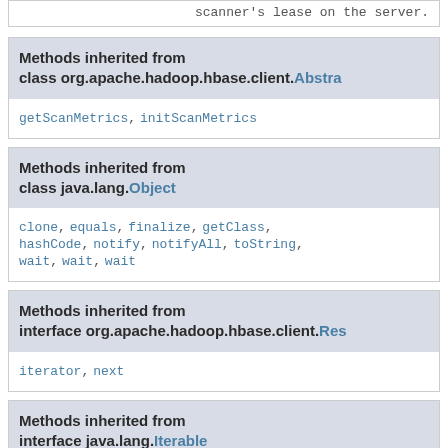scanner's lease on the server.
Methods inherited from class org.apache.hadoop.hbase.client.Abstra...
getScanMetrics, initScanMetrics
Methods inherited from class java.lang.Object
clone, equals, finalize, getClass, hashCode, notify, notifyAll, toString, wait, wait, wait
Methods inherited from interface org.apache.hadoop.hbase.client.Res...
iterator, next
Methods inherited from interface java.lang.Iterable